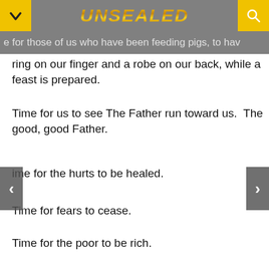UNSEALED
e for those of us who have been feeding pigs, to hav
ring on our finger and a robe on our back, while a feast is prepared.
Time for us to see The Father run toward us.  The good, good Father.
ime for the hurts to be healed.
Time for fears to cease.
Time for the poor to be rich.
Time for the abused and neglected to be loved, nurtured and cared for.